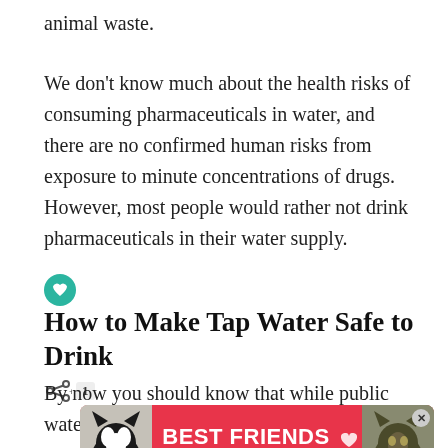animal waste.
We don't know much about the health risks of consuming pharmaceuticals in water, and there are no confirmed human risks from exposure to minute concentrations of drugs. However, most people would rather not drink pharmaceuticals in their water supply.
How to Make Tap Water Safe to Drink
By now you should know that while public water is te...
[Figure (other): Advertisement banner with two cats and text 'BEST FRIENDS FOREVER' on a red background, with a close button and 'w' logo.]